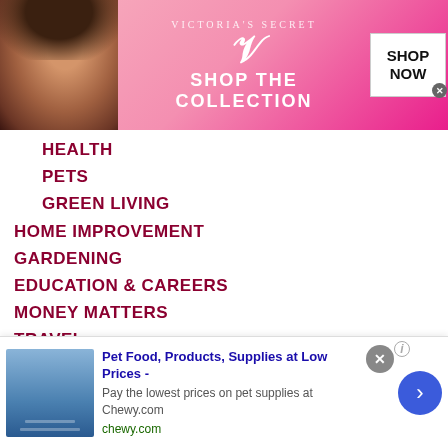[Figure (other): Victoria's Secret advertisement banner with model, VS logo, 'SHOP THE COLLECTION' text, and 'SHOP NOW' button]
HEALTH
PETS
GREEN LIVING
HOME IMPROVEMENT
GARDENING
EDUCATION & CAREERS
MONEY MATTERS
TRAVEL
[Figure (logo): SpartaLive.com banner logo powered by The Expositor, dark red background with geometric pattern]
34 West Bockman Way
Sparta, TN 38583
[Figure (other): Chewy.com advertisement: Pet Food, Products, Supplies at Low Prices - Pay the lowest prices on pet supplies at Chewy.com]